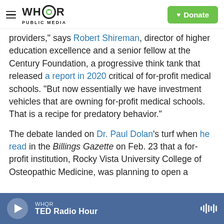WHQR PUBLIC MEDIA | Donate
providers," says Robert Shireman, director of higher education excellence and a senior fellow at the Century Foundation, a progressive think tank that released a report in 2020 critical of for-profit medical schools. "But now essentially we have investment vehicles that are owning for-profit medical schools. That is a recipe for predatory behavior."
The debate landed on Dr. Paul Dolan's turf when he read in the Billings Gazette on Feb. 23 that a for-profit institution, Rocky Vista University College of Osteopathic Medicine, was planning to open a
WHQR | TED Radio Hour